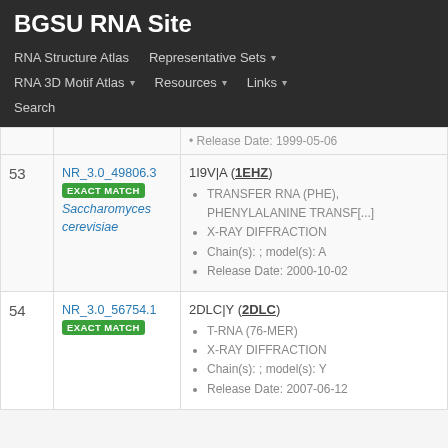BGSU RNA Site
RNA Structure Atlas | Representative Sets ▾ | RNA 3D Motif Atlas ▾ | Resources ▾ | Links ▾ | Search
| # | ID / Match / Species | Structure Details |
| --- | --- | --- |
|  |  | Release Date: 1999-05-06 |
| 53 | NR_3.0_49806.3 EXACT MATCH Saccharomyces cerevisiae | 1I9V|A (1EHZ) • TRANSFER RNA (PHE), PHENYLALANINE TRANSF[...] • X-RAY DIFFRACTION • Chain(s): ; model(s): A • Release Date: 2000-10-02 |
| 54 | NR_3.0_56754.1 EXACT MATCH | 2DLC|Y (2DLC) • T-RNA (76-MER) • X-RAY DIFFRACTION • Chain(s): ; model(s): Y • Release Date: 2007-06-12 |